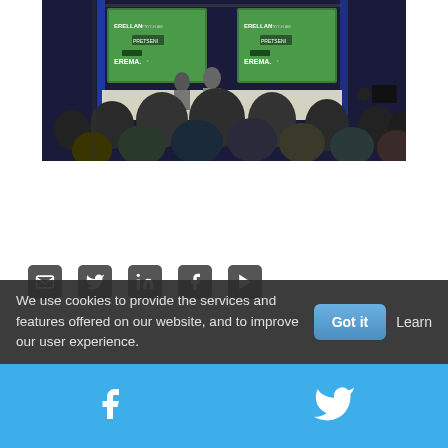[Figure (photo): Conference event photo showing presenter on stage with audience seated, two large screens displaying sponsor logos including EREMA, blue ambient lighting]
[Figure (infographic): Row of social media icon buttons: email/envelope, Twitter bird, LinkedIn, Facebook, YouTube/play button]
We use cookies to provide the services and features offered on our website, and to improve our user experience.
Got it  Learn
[Figure (infographic): Footer bar with Facebook and Twitter social icons in white on blue background]